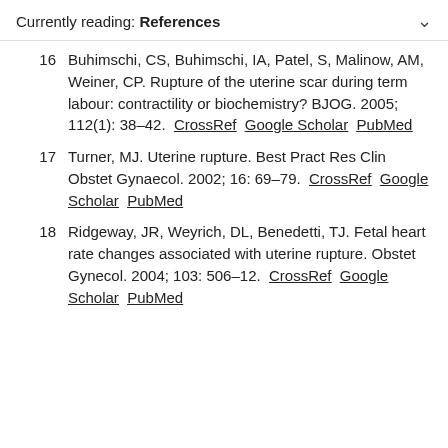Currently reading: References
16  Buhimschi, CS, Buhimschi, IA, Patel, S, Malinow, AM, Weiner, CP. Rupture of the uterine scar during term labour: contractility or biochemistry? BJOG. 2005; 112(1): 38–42. CrossRef  Google Scholar  PubMed
17  Turner, MJ. Uterine rupture. Best Pract Res Clin Obstet Gynaecol. 2002; 16: 69–79. CrossRef  Google Scholar  PubMed
18  Ridgeway, JR, Weyrich, DL, Benedetti, TJ. Fetal heart rate changes associated with uterine rupture. Obstet Gynecol. 2004; 103: 506–12. CrossRef  Google Scholar  PubMed